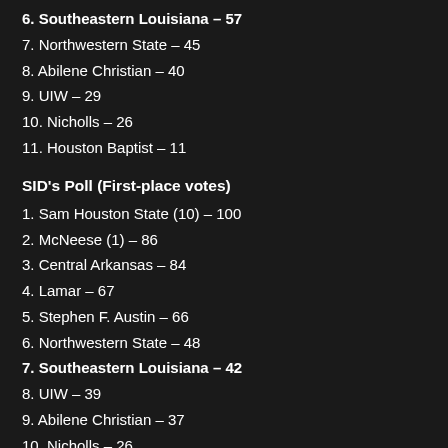6. Southeastern Louisiana — 57
7. Northwestern State — 45
8. Abilene Christian — 40
9. UIW — 29
10. Nicholls — 26
11. Houston Baptist — 11
SID's Poll (First-place votes)
1. Sam Houston State (10) — 100
2. McNeese (1) — 86
3. Central Arkansas — 84
4. Lamar — 67
5. Stephen F. Austin — 66
6. Northwestern State — 48
7. Southeastern Louisiana — 42
8. UIW — 39
9. Abilene Christian — 37
10. Nicholls — 26
11. Houston Baptist — 10